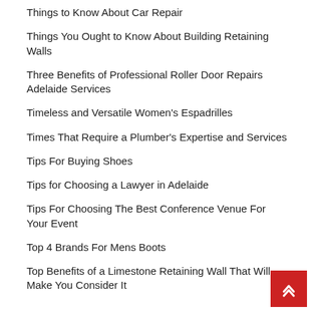Things to Know About Car Repair
Things You Ought to Know About Building Retaining Walls
Three Benefits of Professional Roller Door Repairs Adelaide Services
Timeless and Versatile Women's Espadrilles
Times That Require a Plumber's Expertise and Services
Tips For Buying Shoes
Tips for Choosing a Lawyer in Adelaide
Tips For Choosing The Best Conference Venue For Your Event
Top 4 Brands For Mens Boots
Top Benefits of a Limestone Retaining Wall That Will Make You Consider It